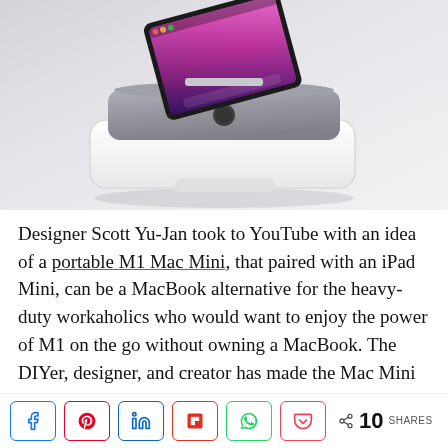[Figure (photo): A white docking case/enclosure holding a Mac Mini with an iPad Mini propped up at an angle as a display, sitting on a light gray background. The Apple logo is visible on the gray Mac Mini top.]
Designer Scott Yu-Jan took to YouTube with an idea of a portable M1 Mac Mini, that paired with an iPad Mini, can be a MacBook alternative for the heavy-duty workaholics who would want to enjoy the power of M1 on the go without owning a MacBook. The DIYer, designer, and creator has made the Mac Mini really portable so that it would allow you to take your M1-powered workstation
[Figure (infographic): Social share bar with buttons: Facebook, Pinterest, LinkedIn, Flipboard, WhatsApp, Pocket, and a share count showing 10 SHARES]